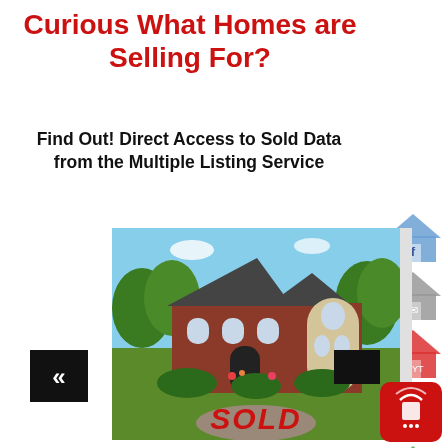Curious What Homes are Selling For?
Find Out! Direct Access to Sold Data from the Multiple Listing Service
[Figure (photo): Large luxury brick house with manicured hedges and garden, with a red SOLD overlay text at the bottom]
[Figure (illustration): Social media icons (Facebook, Email, YouTube, Instagram, WhatsApp) displayed as house-shaped icons on the right sidebar]
[Figure (illustration): Left navigation double-arrow button (black square with white chevrons) and a broadcast/chat app icon at bottom right]